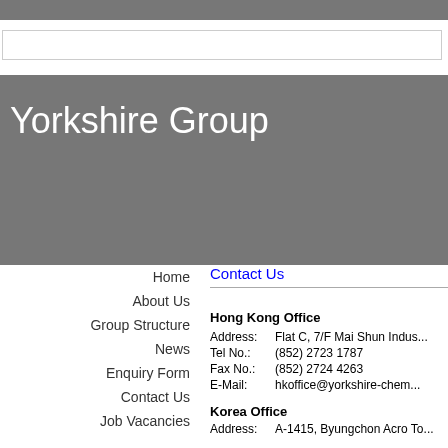Yorkshire Group
Contact Us
Home
About Us
Group Structure
News
Enquiry Form
Contact Us
Job Vacancies
Hong Kong Office
Address:	Flat C, 7/F Mai Shun Indus...
Tel No.:	(852) 2723 1787
Fax No.:	(852) 2724 4263
E-Mail:	hkoffice@yorkshire-chem...
Korea Office
Address:	A-1415, Byungchon Acro To...